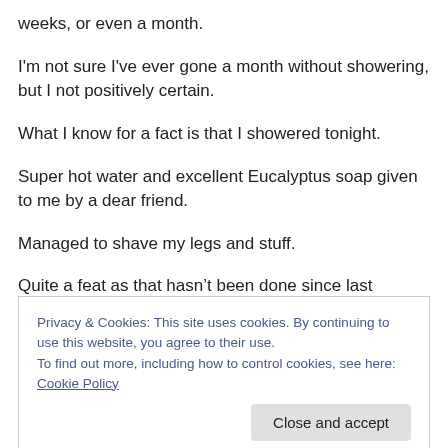weeks, or even a month.
I'm not sure I've ever gone a month without showering, but I not positively certain.
What I know for a fact is that I showered tonight.
Super hot water and excellent Eucalyptus soap given to me by a dear friend.
Managed to shave my legs and stuff.
Quite a feat as that hasn't been done since last December.
Privacy & Cookies: This site uses cookies. By continuing to use this website, you agree to their use.
To find out more, including how to control cookies, see here: Cookie Policy